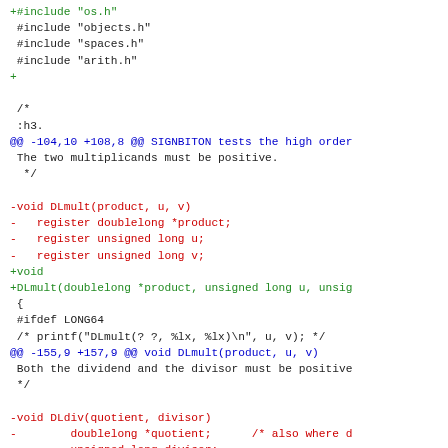Diff/patch code snippet showing changes to DLmult and DLdiv function signatures